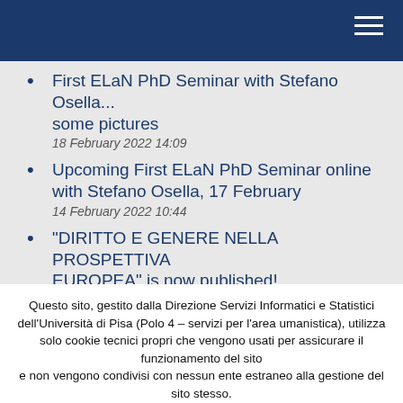First ELaN PhD Seminar with Stefano Osella... some pictures
18 February 2022 14:09
Upcoming First ELaN PhD Seminar online with Stefano Osella, 17 February
14 February 2022 10:44
“DIRITTO E GENERE NELLA PROSPETTIVA EUROPEA” is now published!
Questo sito, gestito dalla Direzione Servizi Informatici e Statistici dell'Università di Pisa (Polo 4 – servizi per l'area umanistica), utilizza solo cookie tecnici propri che vengono usati per assicurare il funzionamento del sito
e non vengono condivisi con nessun ente estraneo alla gestione del sito stesso.
Ho capito | Non sono d'accordo | Informativa